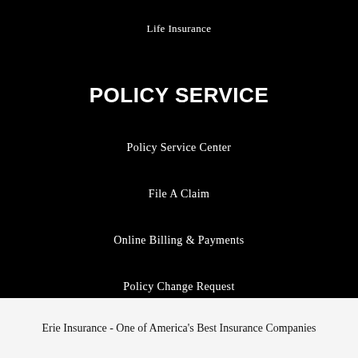Life Insurance
POLICY SERVICE
Policy Service Center
File A Claim
Online Billing & Payments
Policy Change Request
Erie Insurance - One of America's Best Insurance Companies